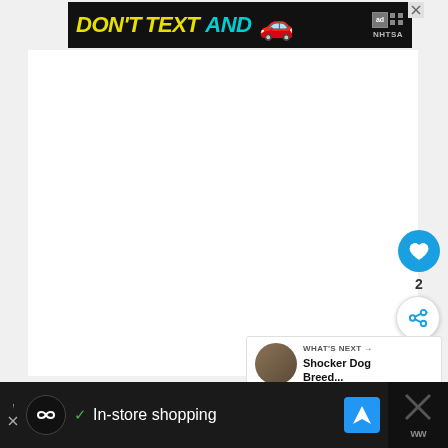[Figure (screenshot): Advertisement banner: 'DON'T TEXT AND' with car emoji, NHTSA logo, on black background]
[Figure (screenshot): White content area (main body of webpage, content not visible)]
[Figure (screenshot): Blue circular like/heart button with count '2' below it]
2
[Figure (screenshot): White circular share button with share icon]
[Figure (screenshot): WHAT'S NEXT card with dog thumbnail and text 'Shocker Dog Breed...']
WHAT'S NEXT → Shocker Dog Breed...
[Figure (screenshot): Bottom advertisement bar with Infinity symbol icon, checkmark, 'In-store shopping' text, navigation icon]
In-store shopping
[Figure (screenshot): Right dark panel with X close button]